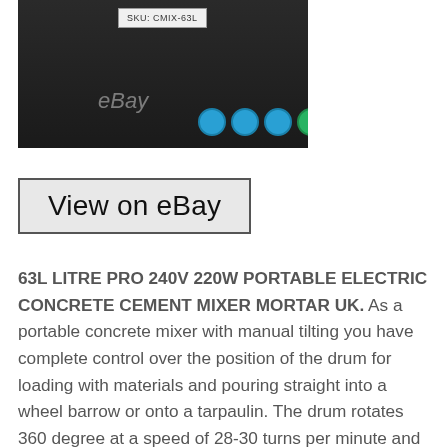[Figure (photo): Product photo of a cement mixer showing SKU label CMIX-63L, eBay watermark, and safety icons on a dark background]
View on eBay
63L LITRE PRO 240V 220W PORTABLE ELECTRIC CONCRETE CEMENT MIXER MORTAR UK. As a portable concrete mixer with manual tilting you have complete control over the position of the drum for loading with materials and pouring straight into a wheel barrow or onto a tarpaulin. The drum rotates 360 degree at a speed of 28-30 turns per minute and can hold up to. Litres of mixing materials, giving homeowners the ability to take on renovations and projects such as paving the drive way, building a wall or laying foundations. Whatever the job, an electric concrete mixer machine helps a job run quicker and smoother than hand-mixing the cement. Overall